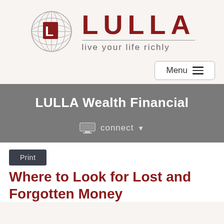[Figure (logo): LULLA logo: globe with red L letter, text 'LULLA' in red bold letters, tagline 'live your life richly' in gray]
Menu ≡
LULLA Wealth Financial
connect ▼
Print
Where to Look for Lost and Forgotten Money